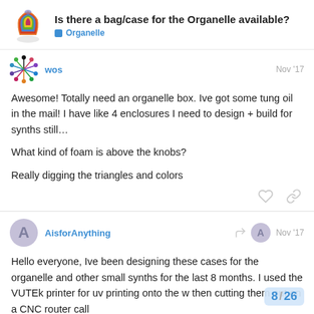Is there a bag/case for the Organelle available? — Organelle
wos   Nov '17
Awesome! Totally need an organelle box. Ive got some tung oil in the mail! I have like 4 enclosures I need to design + build for synths still…

What kind of foam is above the knobs?

Really digging the triangles and colors
AisforAnything   Nov '17
Hello everyone, Ive been designing these cases for the organelle and other small synths for the last 8 months. I used the VUTEk printer for uv printing onto the w then cutting them out on a CNC router call
8 / 26